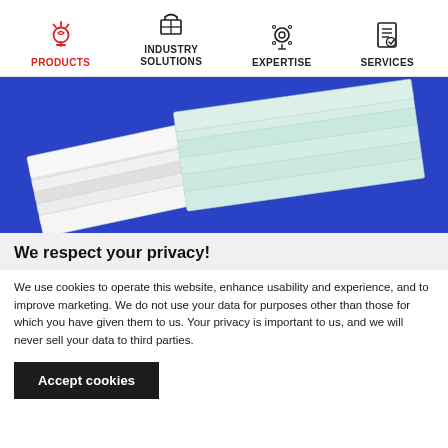PRODUCTS | INDUSTRY SOLUTIONS | EXPERTISE | SERVICES
[Figure (photo): Photo of white and light green composite/fiberglass flat sheets stacked on a blue background]
We respect your privacy!
We use cookies to operate this website, enhance usability and experience, and to improve marketing. We do not use your data for purposes other than those for which you have given them to us. Your privacy is important to us, and we will never sell your data to third parties.
Accept cookies